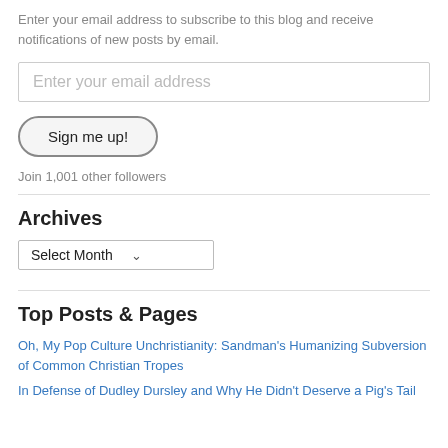Enter your email address to subscribe to this blog and receive notifications of new posts by email.
[Figure (other): Email input field with placeholder text 'Enter your email address']
[Figure (other): Button labeled 'Sign me up!']
Join 1,001 other followers
Archives
[Figure (other): Dropdown select element labeled 'Select Month' with a chevron arrow]
Top Posts & Pages
Oh, My Pop Culture Unchristianity: Sandman's Humanizing Subversion of Common Christian Tropes
In Defense of Dudley Dursley and Why He Didn't Deserve a Pig's Tail